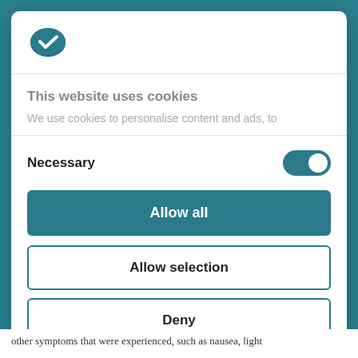[Figure (logo): Cookiebot logo — a teal/dark-teal cookie icon with a checkmark]
This website uses cookies
We use cookies to personalise content and ads, to
Necessary
[Figure (other): Toggle switch in ON state (teal background, white knob on right)]
Allow all
Allow selection
Deny
Powered by Cookiebot by Usercentrics
other symptoms that were experienced, such as nausea, light